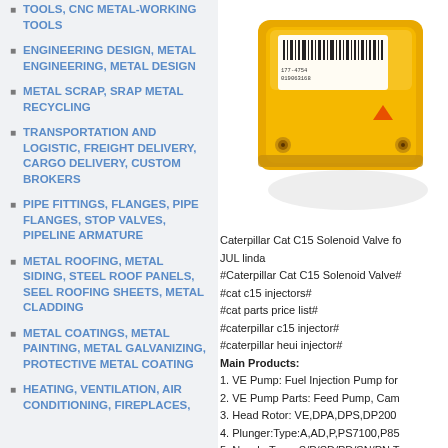TOOLS, CNC METAL-WORKING TOOLS
ENGINEERING DESIGN, METAL ENGINEERING, METAL DESIGN
METAL SCRAP, SRAP METAL RECYCLING
TRANSPORTATION AND LOGISTIC, FREIGHT DELIVERY, CARGO DELIVERY, CUSTOM BROKERS
PIPE FITTINGS, FLANGES, PIPE FLANGES, STOP VALVES, PIPELINE ARMATURE
METAL ROOFING, METAL SIDING, STEEL ROOF PANELS, SEEL ROOFING SHEETS, METAL CLADDING
METAL COATINGS, METAL PAINTING, METAL GALVANIZING, PROTECTIVE METAL COATING
HEATING, VENTILATION, AIR CONDITIONING, FIREPLACES,
[Figure (photo): Yellow Caterpillar Cat C15 Solenoid Valve component with barcode label]
Caterpillar Cat C15 Solenoid Valve fo JUL linda
#Caterpillar Cat C15 Solenoid Valve#
#cat c15 injectors#
#cat parts price list#
#caterpillar c15 injector#
#caterpillar heui injector#
Main Products:
1. VE Pump: Fuel Injection Pump for
2. VE Pump Parts: Feed Pump, Cam
3. Head Rotor: VE,DPA,DPS,DP200
4. Plunger:Type:A,AD,P,PS7100,P85
5. Nozzle:Type: S/P/SD/PD/SN/PN T
6. Repair Kit: VE pump,Lucas,etc